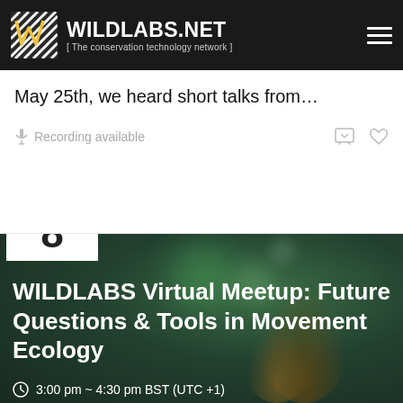WILDLABS.NET [ The conservation technology network ]
May 25th, we heard short talks from…
Recording available
[Figure (other): Date badge showing JUN 8 with blue header and white body]
[Figure (photo): Close-up macro photo of a bee on a flower with bokeh background]
WILDLABS Virtual Meetup: Future Questions & Tools in Movement Ecology
3:00 pm ~ 4:30 pm BST (UTC +1)
Talia Speaker